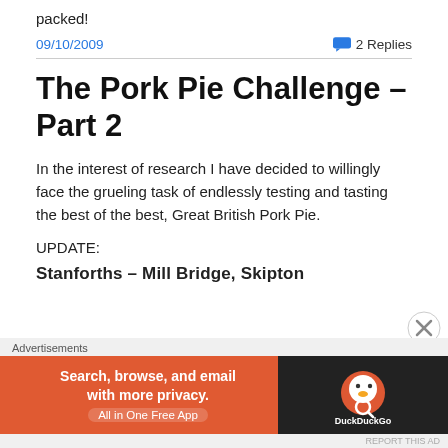packed!
09/10/2009
2 Replies
The Pork Pie Challenge – Part 2
In the interest of research I have decided to willingly face the grueling task of endlessly testing and tasting the best of the best, Great British Pork Pie.
UPDATE:
Stanforths – Mill Bridge, Skipton
[Figure (screenshot): DuckDuckGo advertisement banner: orange background with text 'Search, browse, and email with more privacy. All in One Free App' and DuckDuckGo logo on dark background]